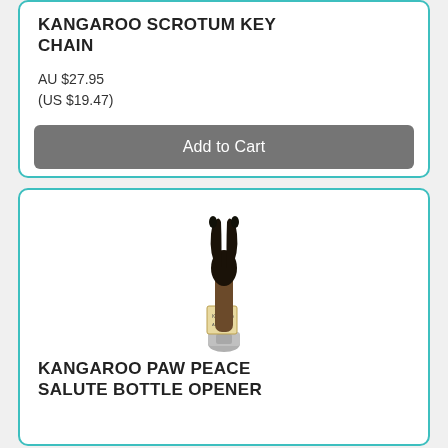KANGAROO SCROTUM KEY CHAIN
AU $27.95
(US $19.47)
Add to Cart
[Figure (photo): A kangaroo paw/foot making a peace sign gesture, with a bottle opener and hang tag attached at the base. The paw is dark brown/black colored with two extended toes pointing upward.]
KANGAROO PAW PEACE SALUTE BOTTLE OPENER